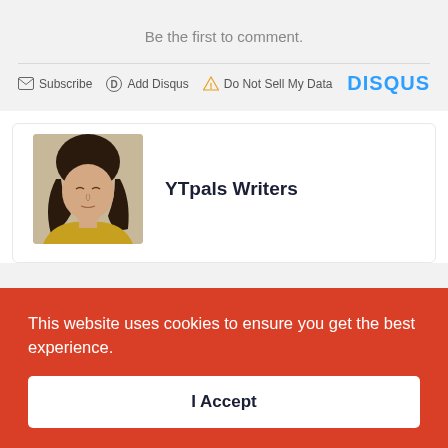Be the first to comment.
Subscribe  Add Disqus  Do Not Sell My Data  DISQUS
[Figure (photo): Profile photo of a woman with dark hair resting her chin on her hand, wearing a yellow jacket]
YTpals Writers
This website uses cookies to ensure you get the best experience.
I Accept